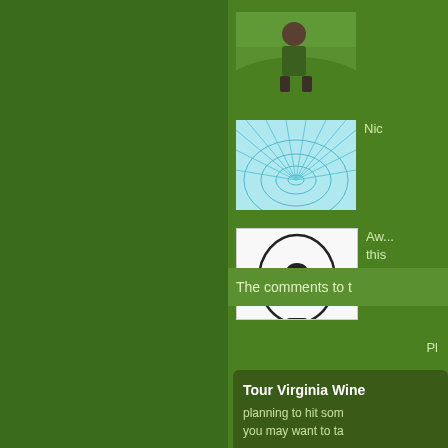[Figure (photo): Thumbnail of a person outdoors on a green hillside]
[Figure (illustration): Thumbnail of a cyan/teal grid tunnel perspective illustration]
Nic
[Figure (illustration): Thumbnail of a question mark figure / avatar icon]
Aw... this sys
The comments to t
Pl
Tour Virginia Wine
planning to hit som you may want to ta